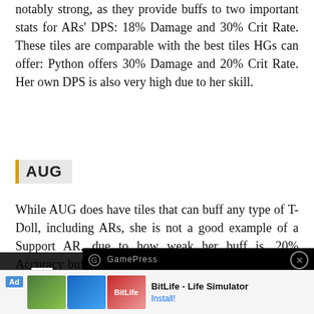notably strong, as they provide buffs to two important stats for ARs' DPS: 18% Damage and 30% Crit Rate. These tiles are comparable with the best tiles HGs can offer: Python offers 30% Damage and 20% Crit Rate. Her own DPS is also very high due to her skill.
AUG
While AUG does have tiles that can buff any type of T-Doll, including ARs, she is not a good example of a Support AR, due to how weak her buff is. 20% Accuracy buffs provide marginal gains to ARs, while a 12% Damage buff is vastly inferior to what M4A1 or Ribeyrolles can provide, and the HGs provide in a 2AR+HG setup. On the other hand, her unable to fully benefit from the bonuses a Neural Processing Chip provides.
Rate of Fire (RoF) ARs
[Figure (screenshot): Video player overlay with GamePress logo and close button, showing a black video area with a 'Top' button with upward arrow in bottom right]
[Figure (screenshot): Mobile menu overlay with hamburger icon and Menu label on dark background]
[Figure (screenshot): Advertisement bar at bottom: BitLife - Life Simulator app ad with Install button]